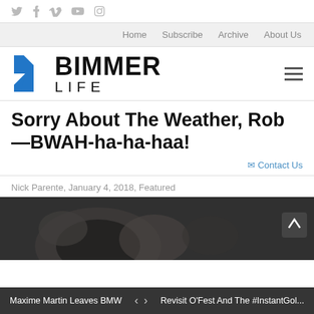Social icons: Twitter, Facebook, Vimeo, YouTube, Instagram
Home   Subscribe   Archive   About Us
[Figure (logo): Bimmer Life logo with blue angular icon and bold BIMMER LIFE text]
Sorry About The Weather, Rob—BWAH-ha-ha-haa!
Contact Us
Nick Parente, January 4, 2018, Featured
[Figure (photo): Close-up dark image of a car wheel/rim in wintry conditions]
Maxime Martin Leaves BMW   < >   Revisit O'Fest And The #InstantGol...